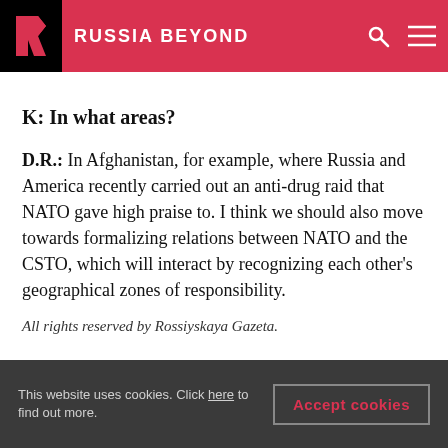RUSSIA BEYOND
K: In what areas?
D.R.: In Afghanistan, for example, where Russia and America recently carried out an anti-drug raid that NATO gave high praise to. I think we should also move towards formalizing relations between NATO and the CSTO, which will interact by recognizing each other's geographical zones of responsibility.
All rights reserved by Rossiyskaya Gazeta.
This website uses cookies. Click here to find out more.
Accept cookies